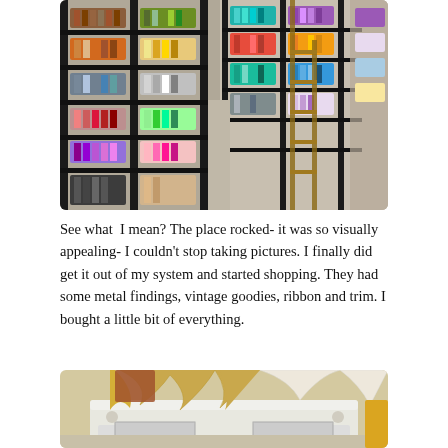[Figure (photo): Interior of a craft or fabric store showing tall dark shelving units densely packed with colorful spools of thread and ribbon, with a rolling ladder visible and a wide aisle running between the shelves.]
See what  I mean? The place rocked- it was so visually appealing- I couldn't stop taking pictures. I finally did get it out of my system and started shopping. They had some metal findings, vintage goodies, ribbon and trim. I bought a little bit of everything.
[Figure (photo): Close-up of a white ornate vintage console table or dresser with gold/satin fabric draped over it and various fabric samples or goods on top.]